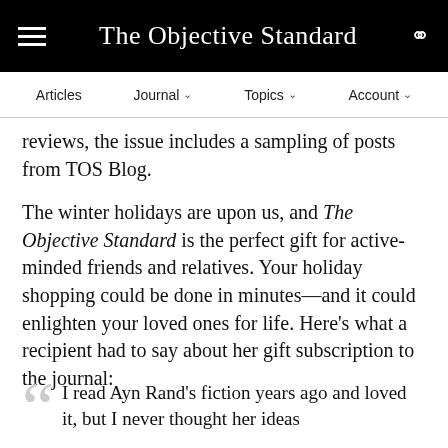The Objective Standard
Articles   Journal ∨   Topics ∨   Account ∨
reviews, the issue includes a sampling of posts from TOS Blog.
The winter holidays are upon us, and The Objective Standard is the perfect gift for active-minded friends and relatives. Your holiday shopping could be done in minutes—and it could enlighten your loved ones for life. Here's what a recipient had to say about her gift subscription to the journal:
I read Ayn Rand's fiction years ago and loved it, but I never thought her ideas